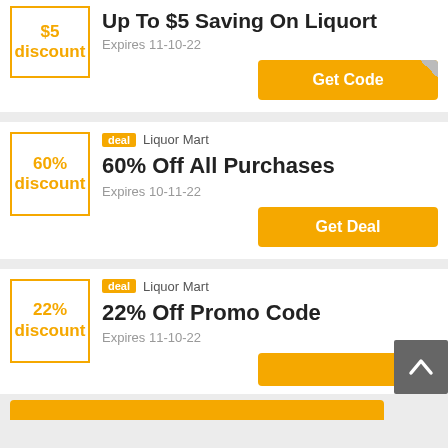[Figure (other): Coupon card 1: $5 discount box, title 'Up To $5 Saving On Liquort', Expires 11-10-22, Get Code button]
[Figure (other): Coupon card 2: deal badge + Liquor Mart, 60% discount box, title '60% Off All Purchases', Expires 10-11-22, Get Deal button]
[Figure (other): Coupon card 3: deal badge + Liquor Mart, 22% discount box, title '22% Off Promo Code', Expires 11-10-22, partial Get Deal button visible. Scroll-to-top button overlay.]